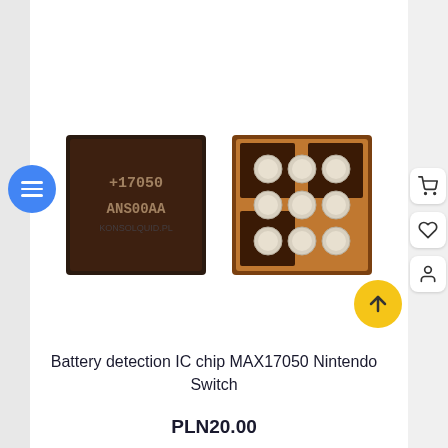[Figure (photo): Two electronic IC chips - MAX17050 battery detection chip for Nintendo Switch. Left chip shows the top view with markings '+17050 ANS00AA'. Right chip shows the bottom view with 9 solder ball pads visible on a copper substrate.]
Battery detection IC chip MAX17050 Nintendo Switch
PLN20.00